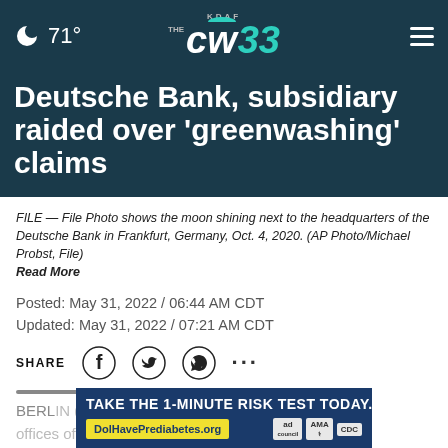🌙 71° | KDAF THE CW 33 | ☰
Deutsche Bank, subsidiary raided over 'greenwashing' claims
FILE — File Photo shows the moon shining next to the headquarters of the Deutsche Bank in Frankfurt, Germany, Oct. 4, 2020. (AP Photo/Michael Probst, File)
Read More
Posted: May 31, 2022 / 06:44 AM CDT
Updated: May 31, 2022 / 07:21 AM CDT
SHARE
BERL... offices of Deutsche Bank and its subsidiary DWS on
[Figure (infographic): Advertisement banner: TAKE THE 1-MINUTE RISK TEST TODAY. DolHavePrediabetes.org with ad, AMA, and CDC logos]